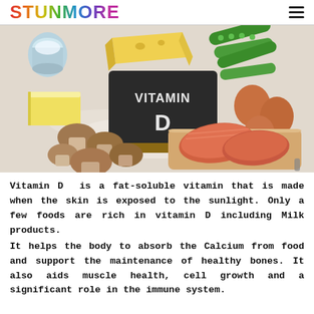STUNMORE
[Figure (photo): Flat lay of foods rich in Vitamin D: milk, cheese, green peas, butter, mushrooms, eggs, salmon fillet, with a chalkboard sign reading VITAMIN D in the center]
Vitamin D  is a fat-soluble vitamin that is made when the skin is exposed to the sunlight. Only a few foods are rich in vitamin D including Milk products.
It helps the body to absorb the Calcium from food and support the maintenance of healthy bones. It also aids muscle health, cell growth and a significant role in the immune system.